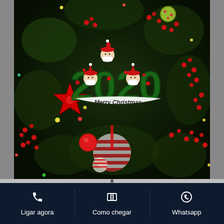[Figure (photo): A Christmas tree ornament reading '2020 Merry Christmas' with three Santa faces wearing masks, hanging on a decorated Christmas tree with red berries, star ornaments, and colorful balls.]
Ligar agora
Como chegar
Whatsapp